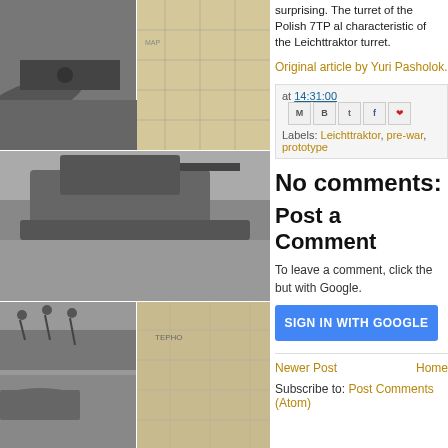[Figure (photo): Photo collage of historical black-and-white tank and military photographs arranged in a grid on the left side of the page]
surprising. The turret of the Polish 7TP also characteristic of the Leichttraktor turret.
Original article by Yuri Pasholok.
at 14:31:00
Labels: Leichttraktor, pre-war, prototype
No comments:
Post a Comment
To leave a comment, click the button below to sign in with Google.
SIGN IN WITH GOOGLE
Newer Post
Home
Subscribe to: Post Comments (Atom)